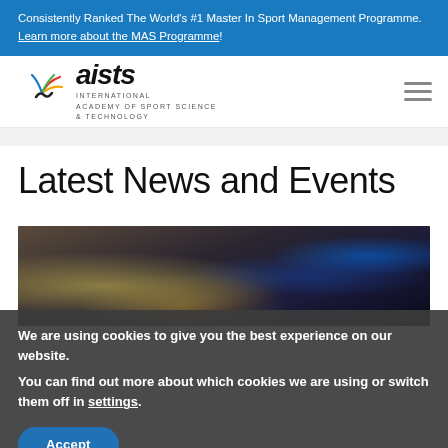Consistently Ranked The World's #1 Master In Sport Management Programme. Learn more about the MAS Programme!
[Figure (logo): AISTS logo with coloured wing graphic and text: INTERNATIONAL ACADEMY OF SPORT SCIENCE & TECHNOLOGY]
Latest News and Events
[Figure (photo): Background photo of cryptocurrency coins (Bitcoin) on a dark surface with colourful lighting]
We are using cookies to give you the best experience on our website.
You can find out more about which cookies we are using or switch them off in settings.
Accept